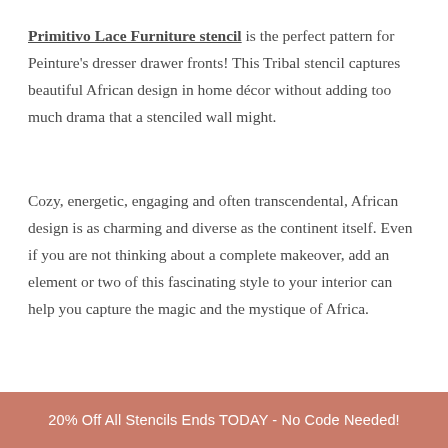Primitivo Lace Furniture stencil is the perfect pattern for Peinture's dresser drawer fronts! This Tribal stencil captures beautiful African design in home décor without adding too much drama that a stenciled wall might.
Cozy, energetic, engaging and often transcendental, African design is as charming and diverse as the continent itself. Even if you are not thinking about a complete makeover, add an element or two of this fascinating style to your interior can help you capture the magic and the mystique of Africa.
20% Off All Stencils Ends TODAY - No Code Needed!